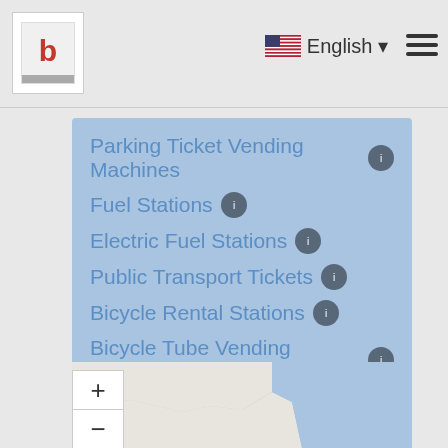[Figure (screenshot): Navigation bar with logo, English language selector, and hamburger menu]
Parking Ticket Vending Machines ℹ
Fuel Stations ℹ
Electric Fuel Stations ℹ
Public Transport Tickets ℹ
Bicycle Rental Stations ℹ
Bicycle Tube Vending Machines ℹ
Toll Ticket Vending Machines ℹ
[Figure (map): Interactive map with zoom controls (+/-) and fullscreen button, showing blue water and land areas]